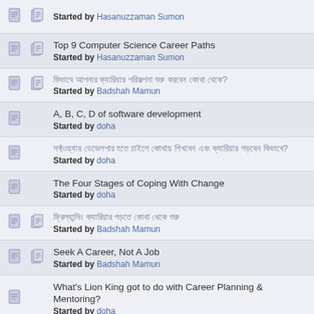Started by Hasanuzzaman Sumon
Top 9 Computer Science Career Paths
Started by Hasanuzzaman Sumon
[Bangla text] Started by Badshah Mamun
A, B, C, D of software development
Started by doha
[Bangla text] Started by doha
The Four Stages of Coping With Change
Started by doha
[Bangla text] Started by Badshah Mamun
Seek A Career, Not A Job
Started by Badshah Mamun
What's Lion King got to do with Career Planning & Mentoring?
Started by doha
Hybrid Jobs and the Hybrid Skills Candidates Need Most